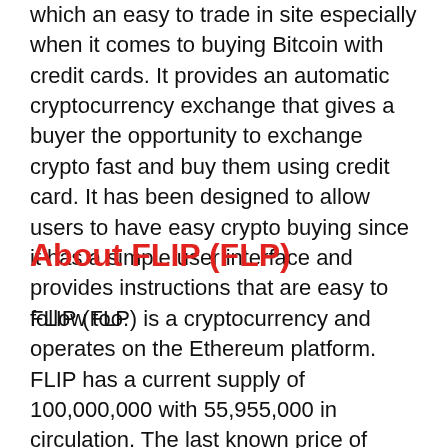Yes you can, you just need to visit Changelly which an easy to trade in site especially when it comes to buying Bitcoin with credit cards. It provides an automatic cryptocurrency exchange that gives a buyer the opportunity to exchange crypto fast and buy them using credit card. It has been designed to allow users to have easy crypto buying since it has a simple user interface and provides instructions that are easy to follow too.
About FLIP (FLP)
FLIP (FLP) is a cryptocurrency and operates on the Ethereum platform. FLIP has a current supply of 100,000,000 with 55,955,000 in circulation. The last known price of FLIP is